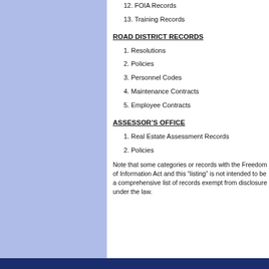12. FOIA Records
13. Training Records
ROAD DISTRICT RECORDS
1. Resolutions
2. Policies
3. Personnel Codes
4. Maintenance Contracts
5. Employee Contracts
ASSESSOR'S OFFICE
1. Real Estate Assessment Records
2. Policies
Note that some categories or records with the Freedom of Information Act and this “listing” is not intended to be a comprehensive list of records exempt from disclosure under the law.